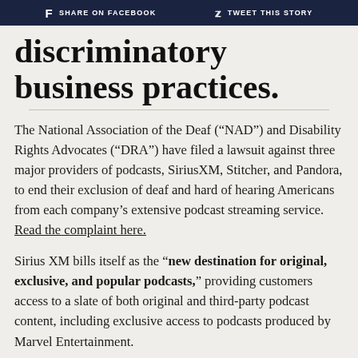f SHARE ON FACEBOOK   🐦 TWEET THIS STORY
discriminatory business practices.
The National Association of the Deaf (“NAD”) and Disability Rights Advocates (“DRA”) have filed a lawsuit against three major providers of podcasts, SiriusXM, Stitcher, and Pandora, to end their exclusion of deaf and hard of hearing Americans from each company’s extensive podcast streaming service. Read the complaint here.
Sirius XM bills itself as the “new destination for original, exclusive, and popular podcasts,” providing customers access to a slate of both original and third-party podcast content, including exclusive access to podcasts produced by Marvel Entertainment.